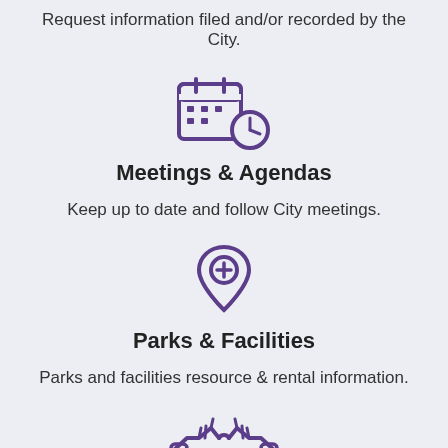Request information filed and/or recorded by the City.
[Figure (illustration): Calendar with clock icon in purple outline style]
Meetings & Agendas
Keep up to date and follow City meetings.
[Figure (illustration): Location pin with plus sign icon in purple outline style]
Parks & Facilities
Parks and facilities resource & rental information.
[Figure (illustration): Handshake icon in purple outline style]